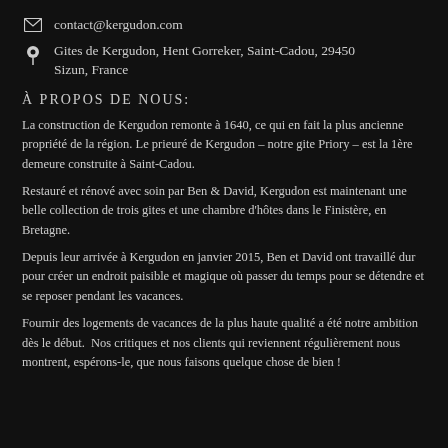contact@kergudon.com
Gites de Kergudon, Hent Gorreker, Saint-Cadou, 29450 Sizun, France
À PROPOS DE NOUS:
La construction de Kergudon remonte à 1640, ce qui en fait la plus ancienne propriété de la région. Le prieuré de Kergudon – notre gite Priory – est la 1ère demeure construite à Saint-Cadou.
Restauré et rénové avec soin par Ben & David, Kergudon est maintenant une belle collection de trois gites et une chambre d'hôtes dans le Finistère, en Bretagne.
Depuis leur arrivée à Kergudon en janvier 2015, Ben et David ont travaillé dur pour créer un endroit paisible et magique où passer du temps pour se détendre et se reposer pendant les vacances.
Fournir des logements de vacances de la plus haute qualité a été notre ambition dès le début.  Nos critiques et nos clients qui reviennent régulièrement nous montrent, espérons-le, que nous faisons quelque chose de bien !